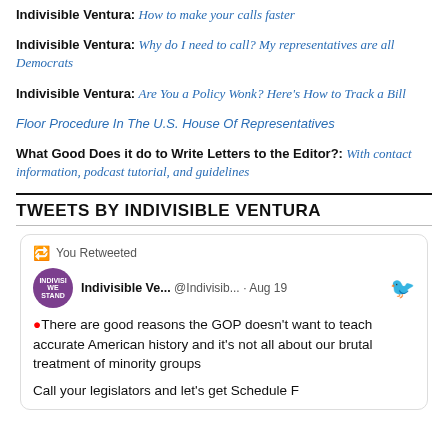Indivisible Ventura: How to make your calls faster
Indivisible Ventura: Why do I need to call? My representatives are all Democrats
Indivisible Ventura: Are You a Policy Wonk? Here's How to Track a Bill
Floor Procedure In The U.S. House Of Representatives
What Good Does it do to Write Letters to the Editor?: With contact information, podcast tutorial, and guidelines
TWEETS BY INDIVISIBLE VENTURA
[Figure (screenshot): A tweet card showing a retweet. The tweet is from Indivisible Ve... @Indivisib... · Aug 19. The tweet text reads: 🔴There are good reasons the GOP doesn't want to teach accurate American history and it's not all about our brutal treatment of minority groups. Followed by: Call your legislators and let's get Schedule F]